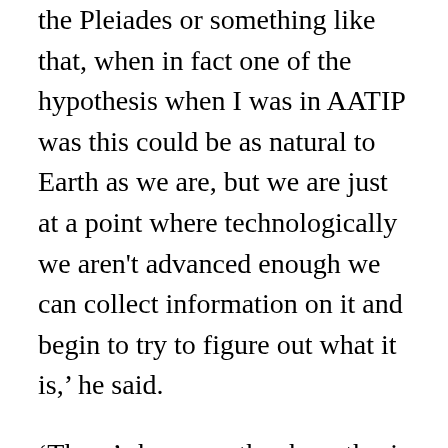the Pleiades or something like that, when in fact one of the hypothesis when I was in AATIP was this could be as natural to Earth as we are, but we are just at a point where technologically we aren't advanced enough we can collect information on it and begin to try to figure out what it is,' he said.
'There's been another hypothesis that these things are possibly from underwater and as outlandish as it may seem, there is some anecdotal evidence that supports all of these observations, so what we want to do is try to get as much data on the table as we